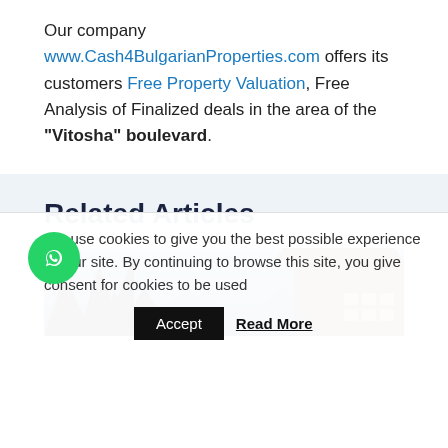Our company www.Cash4BulgarianProperties.com offers its customers Free Property Valuation, Free Analysis of Finalized deals in the area of the "Vitosha" boulevard.
Related Articles
[Figure (photo): Outdoor photo showing dark trees on left and a building with tiled roof on right, against a blue sky with mountains in background]
We use cookies to give you the best possible experience on our site. By continuing to browse this site, you give consent for cookies to be used   Accept   Read More